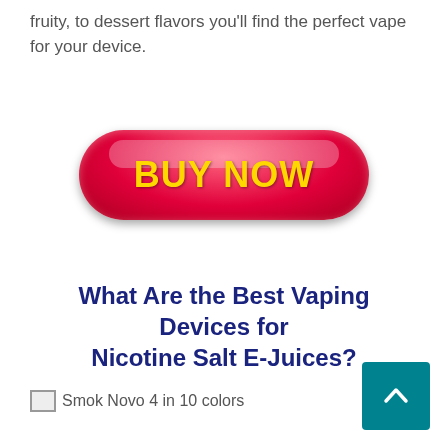fruity, to dessert flavors you'll find the perfect vape for your device.
[Figure (other): A glossy red pill-shaped 'BUY NOW' button with yellow bold text and a highlight sheen effect]
What Are the Best Vaping Devices for Nicotine Salt E-Juices?
Smok Novo 4 in 10 colors